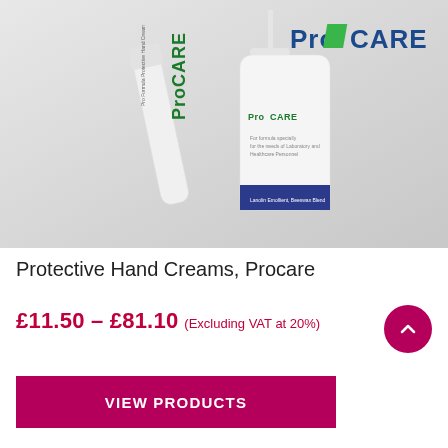[Figure (photo): Product photo showing two ProCare Protective Hand Cream products: a tube and a pump bottle, on a grey gradient background with the ProCare logo in the top right.]
Protective Hand Creams, Procare
£11.50 – £81.10 (Excluding VAT at 20%)
VIEW PRODUCTS